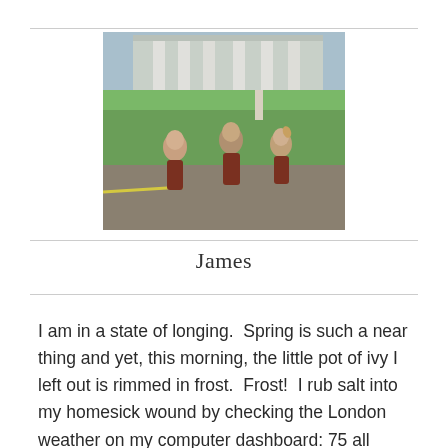[Figure (photo): Vintage color photograph of three young children (two boys and a girl) walking on a path in front of a large building with tall white columns. The children are wearing shorts. A grassy lawn and other figures visible in the background.]
James
I am in a state of longing.  Spring is such a near thing and yet, this morning, the little pot of ivy I left out is rimmed in frost.  Frost!  I rub salt into my homesick wound by checking the London weather on my computer dashboard: 75 all week.  I squeeze lemon into my emotional paper cut by watching the Kings Road web cam obsessively.  I can see the